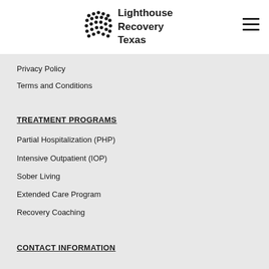Lighthouse Recovery Texas
Privacy Policy
Terms and Conditions
TREATMENT PROGRAMS
Partial Hospitalization (PHP)
Intensive Outpatient (IOP)
Sober Living
Extended Care Program
Recovery Coaching
CONTACT INFORMATION